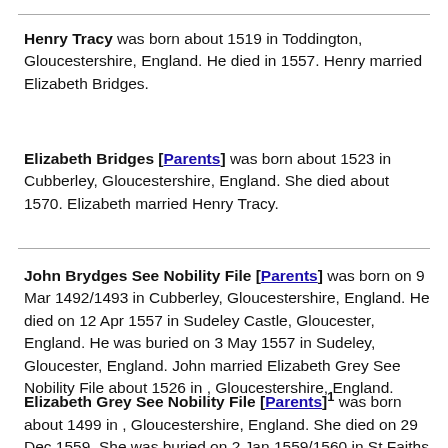Henry Tracy was born about 1519 in Toddington, Gloucestershire, England. He died in 1557. Henry married Elizabeth Bridges.
Elizabeth Bridges [Parents] was born about 1523 in Cubberley, Gloucestershire, England. She died about 1570. Elizabeth married Henry Tracy.
John Brydges See Nobility File [Parents] was born on 9 Mar 1492/1493 in Cubberley, Gloucestershire, England. He died on 12 Apr 1557 in Sudeley Castle, Gloucester, England. He was buried on 3 May 1557 in Sudeley, Gloucester, England. John married Elizabeth Grey See Nobility File about 1526 in , Gloucestershire, England.
Elizabeth Grey See Nobility File [Parents]1 was born about 1499 in , Gloucestershire, England. She died on 29 Dec 1559. She was buried on 2 Jan 1559/1560 in St Faiths by St Pauls.